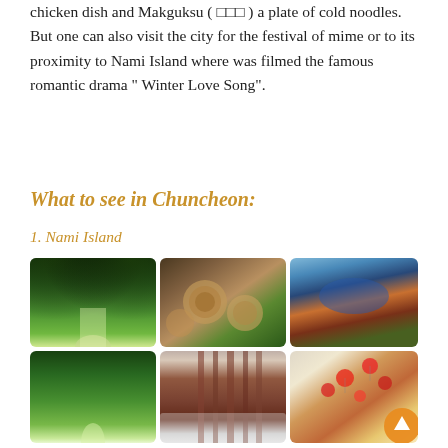chicken dish and Makguksu ( □□□ ) a plate of cold noodles. But one can also visit the city for the festival of mime or to its proximity to Nami Island where was filmed the famous romantic drama " Winter Love Song".
What to see in Chuncheon:
1. Nami Island
[Figure (photo): A 2x3 grid of photos showing Nami Island: green tree tunnel path, stacked logs with inscriptions, aerial view of autumn island and river, tall green tree-lined road, red-trunked trees in winter/foggy forest, and colorful lanterns floating]